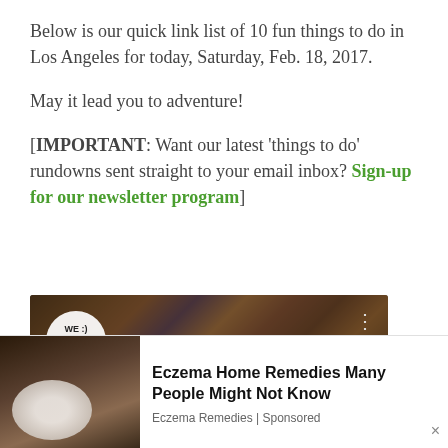Below is our quick link list of 10 fun things to do in Los Angeles for today, Saturday, Feb. 18, 2017.
May it lead you to adventure!
[IMPORTANT: Want our latest ‘things to do’ rundowns sent straight to your email inbox? Sign-up for our newsletter program]
[Figure (screenshot): Video thumbnail with 'We Like L.A.' circular logo and text 'Catch the New Jaso...' with three dots menu icon, dark restaurant/crowd scene background]
[Figure (infographic): Ad banner: image of white cauliflower on wooden spoon on dark background, with text 'Eczema Home Remedies Many People Might Not Know', source 'Eczema Remedies | Sponsored', and a close (x) button]